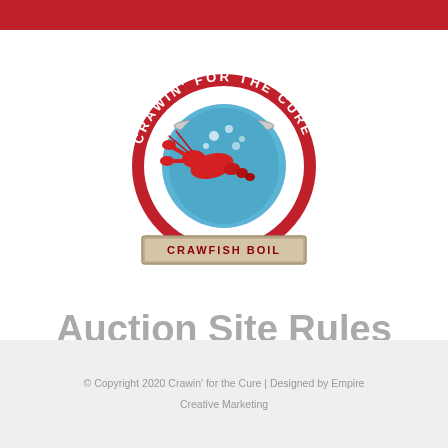[Figure (logo): Crawin' for the Cure Crawfish Boil circular logo with a red crawfish and blue boiling pot in the center, red circular border with white text reading CRAWIN' FOR THE CURE, and a banner at the bottom reading CRAWFISH BOIL]
Auction Site Rules
© Copyright 2020 Crawin' for the Cure | Designed by Empire Creative Marketing